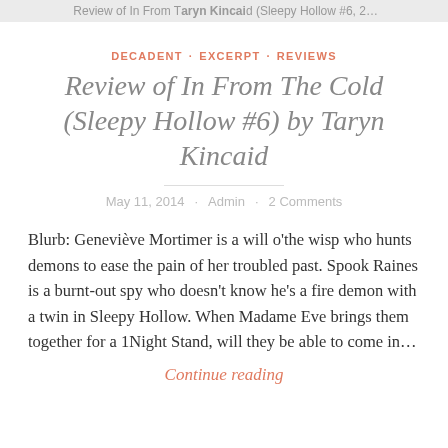Review of In From The Cold (Sleepy Hollow #6) by Taryn Kincaid
DECADENT · EXCERPT · REVIEWS
Review of In From The Cold (Sleepy Hollow #6) by Taryn Kincaid
May 11, 2014 · Admin · 2 Comments
Blurb: Geneviève Mortimer is a will o'the wisp who hunts demons to ease the pain of her troubled past. Spook Raines is a burnt-out spy who doesn't know he's a fire demon with a twin in Sleepy Hollow. When Madame Eve brings them together for a 1Night Stand, will they be able to come in…
Continue reading